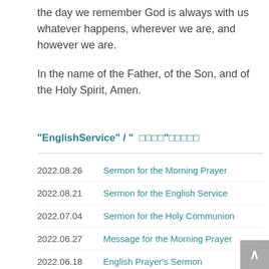the day we remember God is always with us whatever happens, wherever we are, and however we are.
In the name of the Father, of the Son, and of the Holy Spirit, Amen.
"EnglishService" / "            "
2022.08.26  Sermon for the Morning Prayer
2022.08.21  Sermon for the English Service
2022.07.04  Sermon for the Holy Communion
2022.06.27  Message for the Morning Prayer
2022.06.18  English Prayer's Sermon